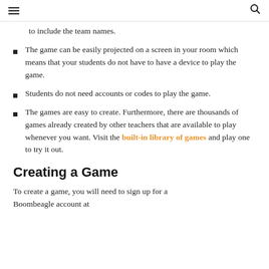≡  🔍
to include the team names.
The game can be easily projected on a screen in your room which means that your students do not have to have a device to play the game.
Students do not need accounts or codes to play the game.
The games are easy to create. Furthermore, there are thousands of games already created by other teachers that are available to play whenever you want. Visit the built-in library of games and play one to try it out.
Creating a Game
To create a game, you will need to sign up for a Boombeagle account at